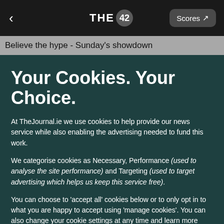THE 42 | Scores
Believe the hype - Sunday's showdown
Your Cookies. Your Choice.
At TheJournal.ie we use cookies to help provide our news service while also enabling the advertising needed to fund this work.
We categorise cookies as Necessary, Performance (used to analyse the site performance) and Targeting (used to target advertising which helps us keep this service free).
You can choose to 'accept all' cookies below or to only opt in to what you are happy to accept using 'manage cookies'. You can also change your cookie settings at any time and learn more about how we use cookies in our Privacy Policy